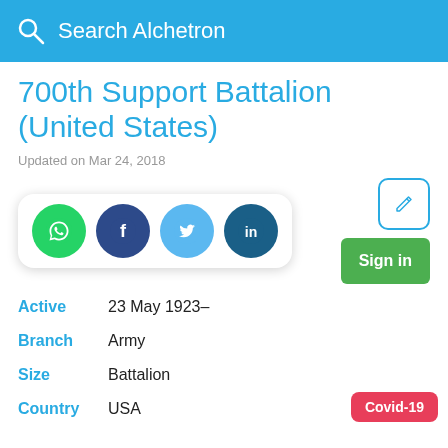Search Alchetron
700th Support Battalion (United States)
Updated on Mar 24, 2018
[Figure (infographic): Social sharing buttons: WhatsApp, Facebook, Twitter, LinkedIn in circular icons inside a rounded white card, plus a pencil/edit icon button and a green Sign in button]
Active  23 May 1923–
Branch  Army
Size  Battalion
Country  USA
Covid-19